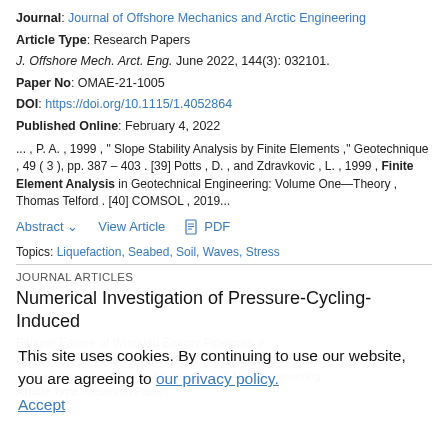Journal: Journal of Offshore Mechanics and Arctic Engineering
Article Type: Research Papers
J. Offshore Mech. Arct. Eng. June 2022, 144(3): 032101.
Paper No: OMAE-21-1005
DOI: https://doi.org/10.1115/1.4052864
Published Online: February 4, 2022
... , P. A. , 1999 , " Slope Stability Analysis by Finite Elements ," Geotechnique , 49 ( 3 ), pp. 387 – 403 . [39] Potts , D. , and Zdravkovic , L. , 1999 , Finite Element Analysis in Geotechnical Engineering: Volume One—Theory , Thomas Telford . [40] COMSOL , 2019...
Abstract  View Article  PDF
Topics: Liquefaction, Seabed, Soil, Waves, Stress
JOURNAL ARTICLES
Numerical Investigation of Pressure-Cycling-Induced
Fatigue Failure of Wrinkled Energy Pipelines
This site uses cookies. By continuing to use our website, you are agreeing to our privacy policy. Accept